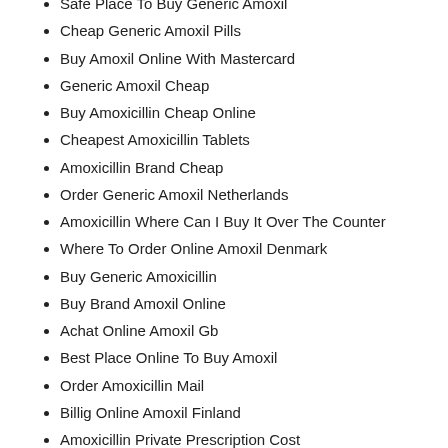Safe Place To Buy Generic Amoxil
Cheap Generic Amoxil Pills
Buy Amoxil Online With Mastercard
Generic Amoxil Cheap
Buy Amoxicillin Cheap Online
Cheapest Amoxicillin Tablets
Amoxicillin Brand Cheap
Order Generic Amoxil Netherlands
Amoxicillin Where Can I Buy It Over The Counter
Where To Order Online Amoxil Denmark
Buy Generic Amoxicillin
Buy Brand Amoxil Online
Achat Online Amoxil Gb
Best Place Online To Buy Amoxil
Order Amoxicillin Mail
Billig Online Amoxil Finland
Amoxicillin Private Prescription Cost
Amoxicillin Kopen Den Haag
Where To Buy Amoxil Safely
Beställ Cheap Amoxil Stockholm
Where To Order Generic Amoxil Belgique
Acheter Cheap Amoxil Amsterdam